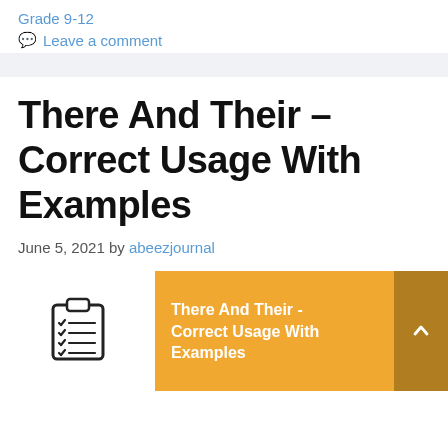Grade 9-12
Leave a comment
There And Their – Correct Usage With Examples
June 5, 2021 by abeezjournal
[Figure (infographic): Orange banner card with a clipboard checklist icon on white background, text reading 'There And Their - Correct Usage With Examples' in white bold on orange, with a dark gold scroll-to-top button on the right.]